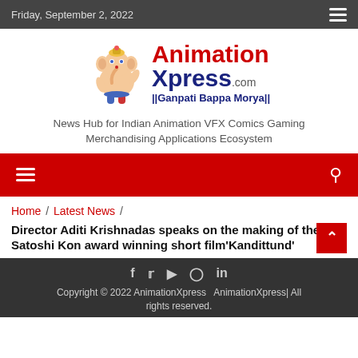Friday, September 2, 2022
[Figure (logo): AnimationXpress.com logo with Ganesh elephant mascot and tagline Ganpati Bappa Morya]
News Hub for Indian Animation VFX Comics Gaming Merchandising Applications Ecosystem
Navigation bar with hamburger menu and search icon
Home / Latest News / Director Aditi Krishnadas speaks on the making of the Satoshi Kon award winning short film'Kandittund'
Copyright © 2022 AnimationXpress AnimationXpress| All rights reserved.